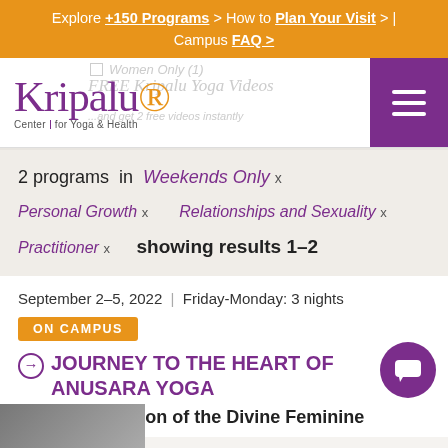Explore +150 Programs > How to Plan Your Visit > | Campus FAQ >
[Figure (logo): Kripalu Center for Yoga & Health logo with navigation menu button]
2 programs in Weekends Only x Personal Growth x Relationships and Sexuality x Practitioner x showing results 1–2
September 2–5, 2022 | Friday-Monday: 3 nights
ON CAMPUS
JOURNEY TO THE HEART OF ANUSARA YOGA
A Celebration of the Divine Feminine